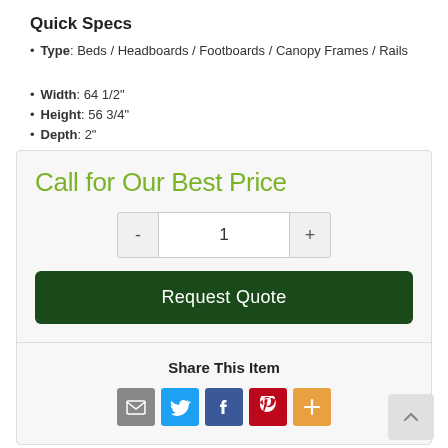Quick Specs
Type: Beds / Headboards / Footboards / Canopy Frames / Rails
Width: 64 1/2"
Height: 56 3/4"
Depth: 2"
Call for Our Best Price
1
Request Quote
Share This Item